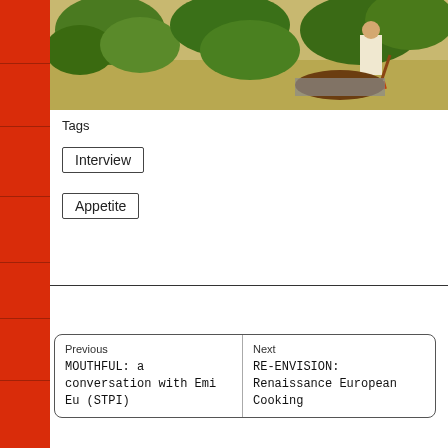[Figure (photo): Outdoor photo of a person working in a vineyard or garden, shoveling soil or compost near green leafy plants in dry terrain.]
Tags
Interview
Appetite
Previous
MOUTHFUL: a conversation with Emi Eu (STPI)
Next
RE-ENVISION: Renaissance European Cooking